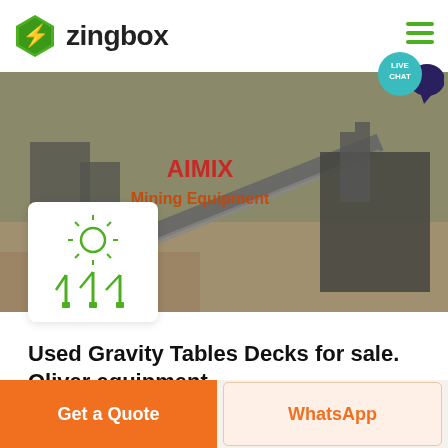zingbox
[Figure (photo): Aerial view of mining/crushing equipment and conveyor belts at an industrial site. Red text overlay reads 'AIMIX Mining Equipment']
[Figure (illustration): White card with green sun icon and green conveyor/antenna equipment icons]
Used Gravity Tables Decks for sale. Oliver equipment ...
Get a Quote
WhatsApp